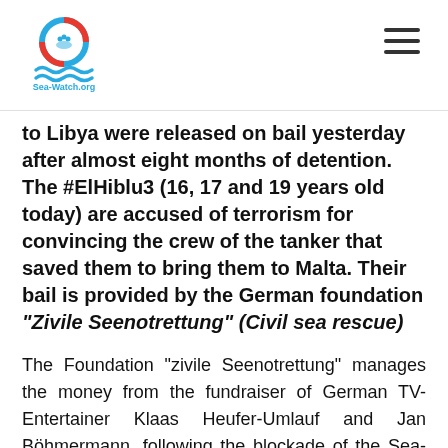Sea-Watch.org
to Libya were released on bail yesterday after almost eight months of detention. The #ElHiblu3 (16, 17 and 19 years old today) are accused of terrorism for convincing the crew of the tanker that saved them to bring them to Malta. Their bail is provided by the German foundation "Zivile Seenotrettung" (Civil sea rescue)
The Foundation “zivile Seenotrettung” manages the money from the fundraiser of German TV-Entertainer Klaas Heufer-Umlauf and Jan Böhmermann, following the blockade of the Sea-Watch 3 under captain Carola Rackete, and with the bail set yet another sign against the criminalization of refugees and of solidarity with